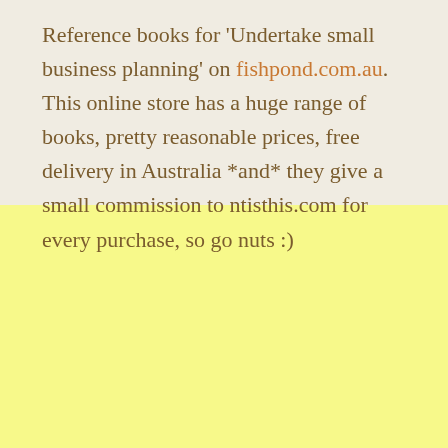Reference books for 'Undertake small business planning' on fishpond.com.au. This online store has a huge range of books, pretty reasonable prices, free delivery in Australia *and* they give a small commission to ntisthis.com for every purchase, so go nuts :)